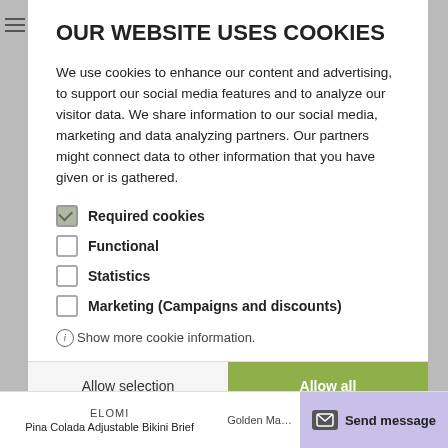OUR WEBSITE USES COOKIES
We use cookies to enhance our content and advertising, to support our social media features and to analyze our visitor data. We share information to our social media, marketing and data analyzing partners. Our partners might connect data to other information that you have given or is gathered.
Required cookies
Functional
Statistics
Marketing (Campaigns and discounts)
Show more cookie information.
Allow selection
Allow all
ELOMI
Pina Colada Adjustable Bikini Brief
Golden Ma…
Send message